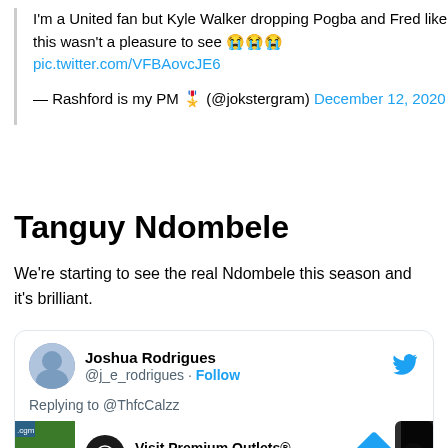I'm a United fan but Kyle Walker dropping Pogba and Fred like this wasn't a pleasure to see 😭😭😭 pic.twitter.com/VFBAovcJE6

— Rashford is my PM 🎖️ (@jokstergram) December 12, 2020
Tanguy Ndombele
We're starting to see the real Ndombele this season and it's brilliant.
Joshua Rodrigues @j_e_rodrigues · Follow
Replying to @ThfcCalzz
Visit Premium Outlets® Leesburg Premium Outlets